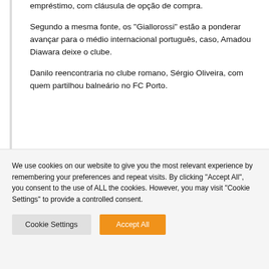empréstimo, com cláusula de opção de compra.
Segundo a mesma fonte, os "Giallorossi" estão a ponderar avançar para o médio internacional português, caso, Amadou Diawara deixe o clube.
Danilo reencontraria no clube romano, Sérgio Oliveira, com quem partilhou balneário no FC Porto.
We use cookies on our website to give you the most relevant experience by remembering your preferences and repeat visits. By clicking "Accept All", you consent to the use of ALL the cookies. However, you may visit "Cookie Settings" to provide a controlled consent.